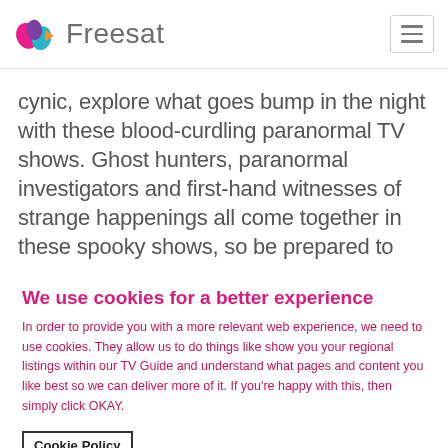Freesat
cynic, explore what goes bump in the night with these blood-curdling paranormal TV shows. Ghost hunters, paranormal investigators and first-hand witnesses of strange happenings all come together in these spooky shows, so be prepared to
We use cookies for a better experience
In order to provide you with a more relevant web experience, we need to use cookies. They allow us to do things like show you your regional listings within our TV Guide and understand what pages and content you like best so we can deliver more of it. If you're happy with this, then simply click OKAY.
Cookie Policy
Cookies Settings